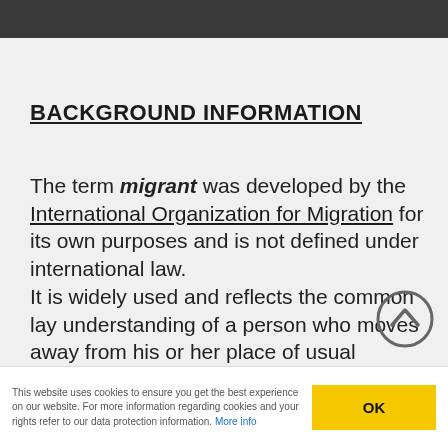BACKGROUND INFORMATION
The term migrant was developed by the International Organization for Migration for its own purposes and is not defined under international law. It is widely used and reflects the common lay understanding of a person who moves away from his or her place of usual residence.
This website uses cookies to ensure you get the best experience on our website. For more information regarding cookies and your rights refer to our data protection information. More info